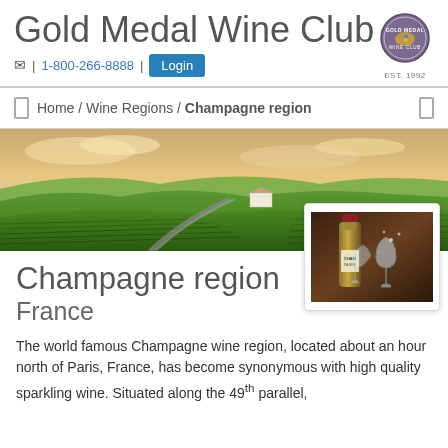Gold Medal Wine Club
✉ | 1-800-266-8888 | Login
Home / Wine Regions / Champagne region
[Figure (photo): Aerial view of Champagne wine region vineyard rolling green hills with road and winery building, dramatic sky at sunset]
Champagne region
France
[Figure (photo): Close-up of Champagne bottle being opened with glasses on a table]
The world famous Champagne wine region, located about an hour north of Paris, France, has become synonymous with high quality sparkling wine. Situated along the 49th parallel, the region's cool temperatures and unique chalky soils provide ideal growing conditions for Chardonnay, Pinot Noir and Pinot Meunier grapes.